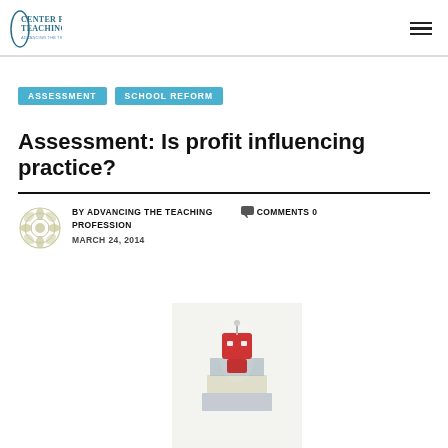Center For Teaching — Advancing the Teaching Profession
ASSESSMENT
SCHOOL REFORM
Assessment: Is profit influencing practice?
BY ADVANCING THE TEACHING PROFESSION   COMMENTS 0
MARCH 24, 2014
[Figure (photo): A photo of a small red robot figurine placed on top of stacked books or colored blocks, partially visible at the bottom of the page.]